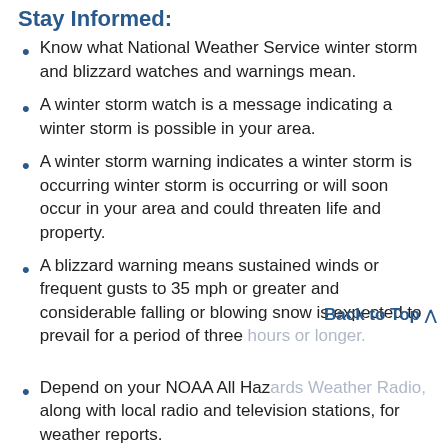Stay Informed:
Know what National Weather Service winter storm and blizzard watches and warnings mean.
A winter storm watch is a message indicating a winter storm is possible in your area.
A winter storm warning indicates a winter storm is occurring winter storm is occurring or will soon occur in your area and could threaten life and property.
A blizzard warning means sustained winds or frequent gusts to 35 mph or greater and considerable falling or blowing snow is expected to prevail for a period of three hours or longer.
Depend on your NOAA All Hazards Weather Radio, along with local radio and television stations, for weather reports.